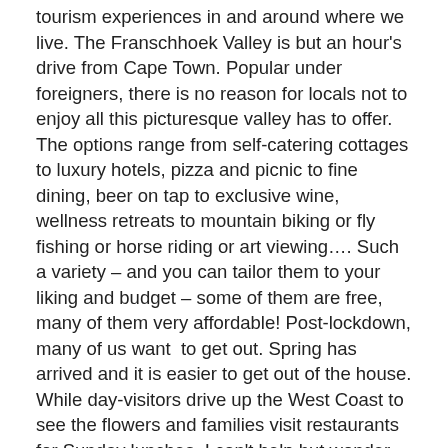tourism experiences in and around where we live. The Franschhoek Valley is but an hour's drive from Cape Town. Popular under foreigners, there is no reason for locals not to enjoy all this picturesque valley has to offer. The options range from self-catering cottages to luxury hotels, pizza and picnic to fine dining, beer on tap to exclusive wine, wellness retreats to mountain biking or fly fishing or horse riding or art viewing…. Such a variety – and you can tailor them to your liking and budget – some of them are free, many of them very affordable! Post-lockdown, many of us want  to get out. Spring has arrived and it is easier to get out of the house. While day-visitors drive up the West Coast to see the flowers and families visit restaurants for Sunday lunches, I can't help but wonder whether South Africans make for good tourists in our own country.
Are we inquisitive enough? Do we want to try new things, experience new places? Are we open to another environment, another menu, something out of the comfort zone? Perhaps many South Africans don't have a cultur